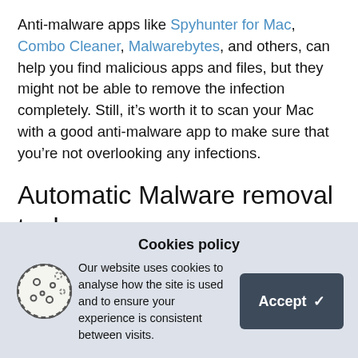Anti-malware apps like Spyhunter for Mac, Combo Cleaner, Malwarebytes, and others, can help you find malicious apps and files, but they might not be able to remove the infection completely. Still, it's worth it to scan your Mac with a good anti-malware app to make sure that you're not overlooking any infections.
Automatic Malware removal tools
[Figure (other): A horizontal blue progress bar centered on the page]
[Figure (infographic): Cookie consent banner with cookie icon, Cookies policy title, descriptive text, and Accept button]